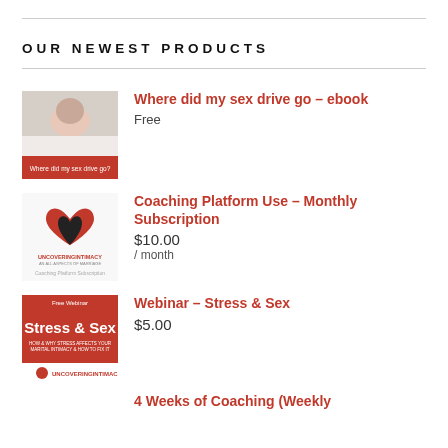OUR NEWEST PRODUCTS
Where did my sex drive go – ebook | Free
Coaching Platform Use – Monthly Subscription | $10.00 / month
Webinar – Stress & Sex | $5.00
4 Weeks of Coaching (Weekly...